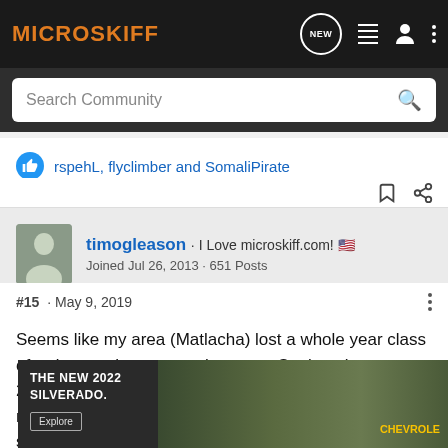MICROSKIFF
Search Community
rspehL, flyclimber and SomaliPirate
timogleason · I Love microskiff.com! 🇺🇸
Joined Jul 26, 2013 · 651 Posts
#15 · May 9, 2019
Seems like my area (Matlacha) lost a whole year class of reds over the summer last year. Seeing almost no 21" - 27" fish. Still getting small and big ones (not as many big ones as before) but not ANY of those slot sized ones. Looking forward to a year with no
[Figure (screenshot): Chevrolet Silverado 2022 advertisement banner showing truck and THE NEW 2022 SILVERADO. text with Explore button and Chevrolet logo]